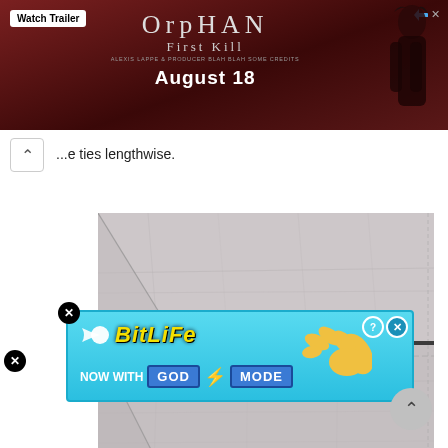[Figure (screenshot): Advertisement banner for the movie 'Orphan: First Kill' with dark red background, showing the film title, tagline, release date August 18, a Watch Trailer button, and a figure of a dark-haired woman on the right.]
...e ties lengthwise.
[Figure (photo): Photo of light gray fabric folded and tied lengthwise, showing the fabric strip laid flat with a seam running horizontally across the middle.]
[Figure (screenshot): Advertisement for BitLife game showing 'NOW WITH GOD MODE' text on a cyan/blue background with a pointing hand illustration and close buttons.]